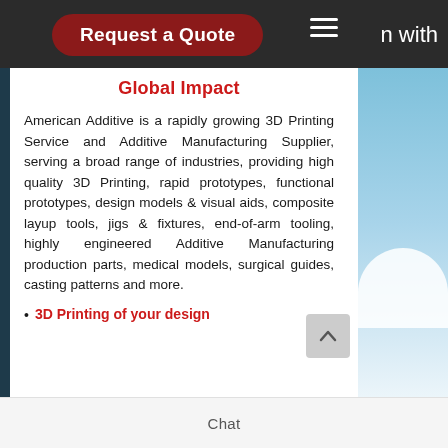[Figure (screenshot): Navigation bar with dark background containing a red 'Request a Quote' button, hamburger menu icon, and partial text 'n with' on the right]
Global Impact
American Additive is a rapidly growing 3D Printing Service and Additive Manufacturing Supplier, serving a broad range of industries, providing high quality 3D Printing, rapid prototypes, functional prototypes, design models & visual aids, composite layup tools, jigs & fixtures, end-of-arm tooling, highly engineered Additive Manufacturing production parts, medical models, surgical guides, casting patterns and more.
3D Printing of your design
Chat